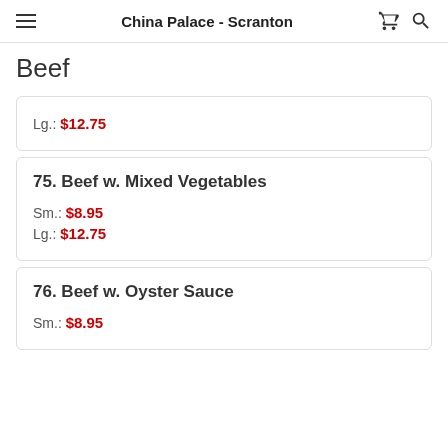China Palace - Scranton
Beef
Lg.: $12.75
75. Beef w. Mixed Vegetables
Sm.: $8.95
Lg.: $12.75
76. Beef w. Oyster Sauce
Sm.: $8.95